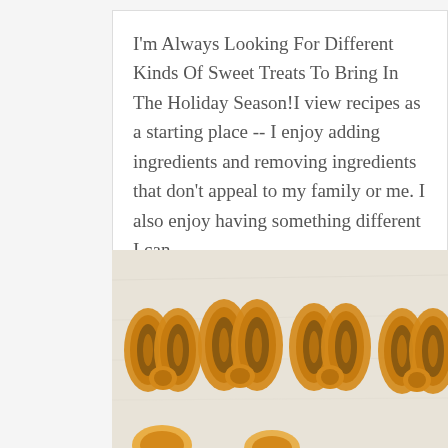I'm Always Looking For Different Kinds Of Sweet Treats To Bring In The Holiday Season!I view recipes as a starting place -- I enjoy adding ingredients and removing ingredients that don't appeal to my family or me. I also enjoy having something different I can...
read more
[Figure (photo): Four heart-shaped palmier pastry cookies (elephant ears) arranged in a row on a white surface, showing golden-brown layered dough with cinnamon filling, viewed from above.]